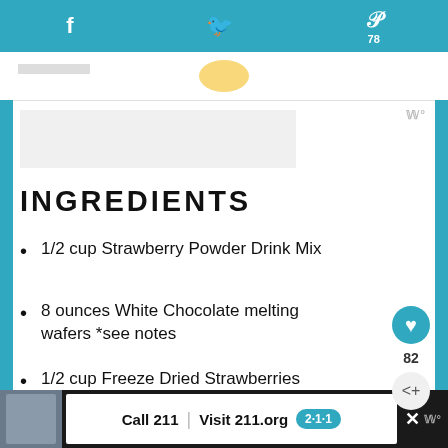Social sharing bar with Facebook, Twitter, Pinterest (78)
INGREDIENTS
1/2 cup Strawberry Powder Drink Mix
8 ounces White Chocolate melting wafers *see notes
1/2 cup Freeze Dried Strawberries
1/3 cup Mini Marshmallows
Large cavity semi-sphere silicone
Call 211 | Visit 211.org  [2·1·1 logo]